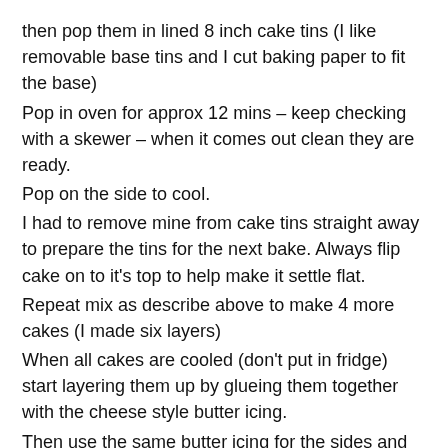then pop them in lined 8 inch cake tins (I like removable base tins and I cut baking paper to fit the base)
Pop in oven for approx 12 mins – keep checking with a skewer – when it comes out clean they are ready.
Pop on the side to cool.
I had to remove mine from cake tins straight away to prepare the tins for the next bake. Always flip cake on to it's top to help make it settle flat.
Repeat mix as describe above to make 4 more cakes (I made six layers)
When all cakes are cooled (don't put in fridge) start layering them up by glueing them together with the cheese style butter icing.
Then use the same butter icing for the sides and top.
Rosie enjoying helping me stick smarties all over the cake to finish it off.